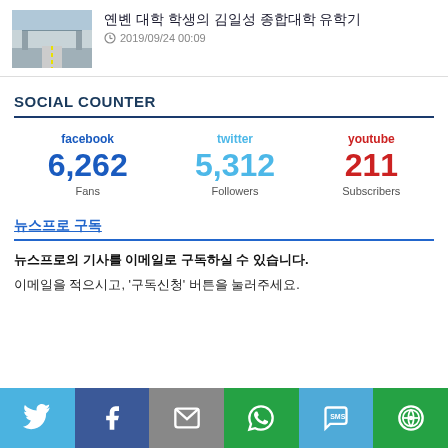[Figure (photo): Thumbnail photo of a university gate/bridge]
옌볜 대학 학생의 김일성 종합대학 유학기
2019/09/24 00:09
SOCIAL COUNTER
facebook 6,262 Fans | twitter 5,312 Followers | youtube 211 Subscribers
뉴스프로 구독
뉴스프로의 기사를 이메일로 구독하실 수 있습니다.
이메일을 적으시고, '구독신청' 버튼을 눌러주세요.
[Figure (infographic): Social share bar with Twitter, Facebook, Email, WhatsApp, SMS, and More buttons]